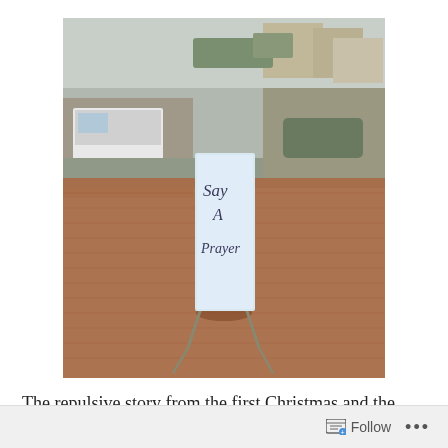[Figure (photo): Outdoor photo of a sidewalk or plaza with brick pavers. A white sandwich board sign stands in the center reading 'Say A Prayer' in handwritten text. Cars and buildings are visible in the background.]
The repulsive story from the first Christmas and the birth of Jesus speak to me.  Matthew 2:16-18 tells us about the
Follow ...